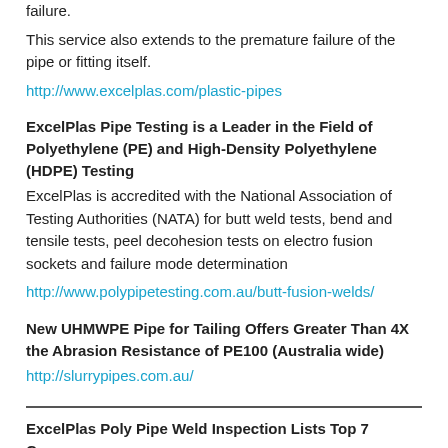failure.
This service also extends to the premature failure of the pipe or fitting itself.
http://www.excelplas.com/plastic-pipes
ExcelPlas Pipe Testing is a Leader in the Field of Polyethylene (PE) and High-Density Polyethylene (HDPE) Testing
ExcelPlas is accredited with the National Association of Testing Authorities (NATA) for butt weld tests, bend and tensile tests, peel decohesion tests on electro fusion sockets and failure mode determination
http://www.polypipetesting.com.au/butt-fusion-welds/
New UHMWPE Pipe for Tailing Offers Greater Than 4X the Abrasion Resistance of PE100 (Australia wide)
http://slurrypipes.com.au/
ExcelPlas Poly Pipe Weld Inspection Lists Top 7 Causes